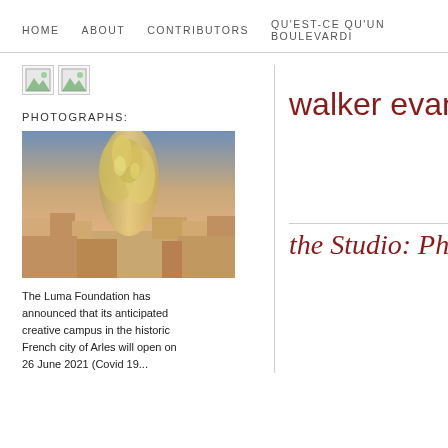HOME   ABOUT   CONTRIBUTORS   QU'EST-CE QU'UN BOULEVARD
[Figure (illustration): Two broken/missing image icons side by side]
PHOTOGRAPHS:
[Figure (photo): Photograph of the Luma Foundation building in Arles — a tall metallic sculptural tower rising above the French city rooftops at dusk]
The Luma Foundation has announced that its anticipated creative campus in the historic French city of Arles will open on 26 June 2021 (Covid 19...
walker evans
the Studio: Ph...